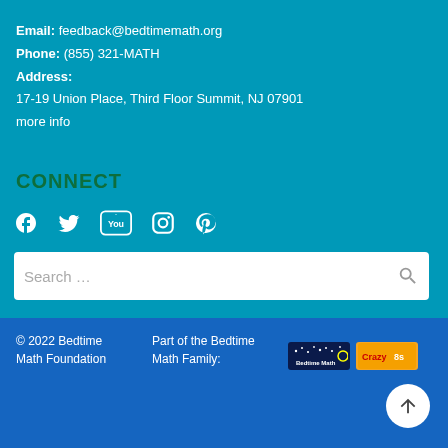Email: feedback@bedtimemath.org
Phone: (855) 321-MATH
Address:
17-19 Union Place, Third Floor Summit, NJ 07901
more info
CONNECT
[Figure (infographic): Social media icons: Facebook, Twitter, YouTube, Instagram, Pinterest]
Search …
© 2022 Bedtime Math Foundation
Part of the Bedtime Math Family:
[Figure (logo): Bedtime Math logo (dark blue with stars)]
[Figure (logo): CrazyBuk logo (orange/yellow)]